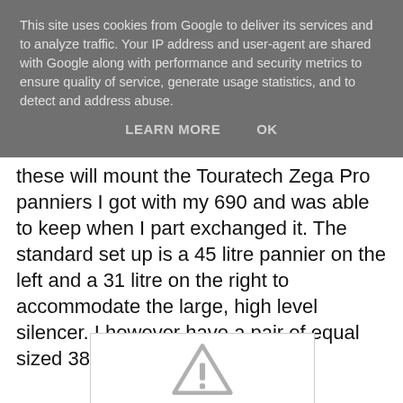This site uses cookies from Google to deliver its services and to analyze traffic. Your IP address and user-agent are shared with Google along with performance and security metrics to ensure quality of service, generate usage statistics, and to detect and address abuse.
LEARN MORE    OK
these will mount the Touratech Zega Pro panniers I got with my 690 and was able to keep when I part exchanged it. The standard set up is a 45 litre pannier on the left and a 31 litre on the right to accommodate the large, high level silencer. I however have a pair of equal sized 38 litre panniers.
[Figure (other): Image placeholder with warning triangle icon (broken or unavailable image)]